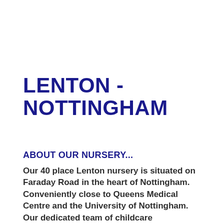LENTON - NOTTINGHAM
ABOUT OUR NURSERY...
Our 40 place Lenton nursery is situated on Faraday Road in the heart of Nottingham. Conveniently close to Queens Medical Centre and the University of Nottingham. Our dedicated team of childcare practitioners will ensure your child receives outstanding care and education with a homely feel in